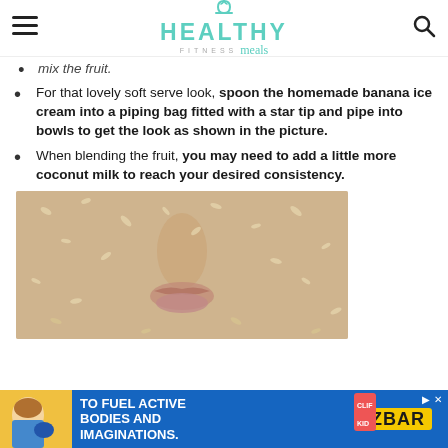HEALTHY FITNESS meals
mix the fruit.
For that lovely soft serve look, spoon the homemade banana ice cream into a piping bag fitted with a star tip and pipe into bowls to get the look as shown in the picture.
When blending the fruit, you may need to add a little more coconut milk to reach your desired consistency.
[Figure (photo): Close-up photo of a face covered with oat/grain-based face mask or food coating, showing nose and lips area.]
[Figure (photo): Advertisement banner: blue background with text 'TO FUEL ACTIVE BODIES AND IMAGINATIONS.' featuring CLIF Kid ZBAR chocolate chip product.]